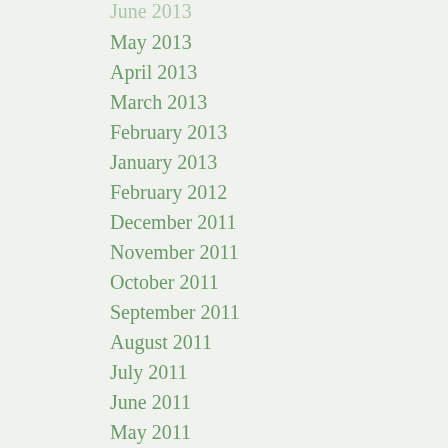June 2013
May 2013
April 2013
March 2013
February 2013
January 2013
February 2012
December 2011
November 2011
October 2011
September 2011
August 2011
July 2011
June 2011
May 2011
April 2011
March 2011